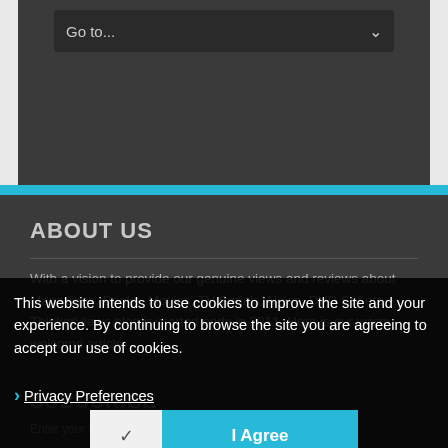[Figure (screenshot): Navigation dropdown bar with 'Go to...' text and chevron arrow on dark background]
ABOUT US
With a vision to provide our genuine views and reviews about Magazines, Books, Movies, TV Serials, News, DVD Set etc. ThinkerViews blog is started early in 2011. Here is our warm welcome article.
This website intends to use cookies to improve the site and your experience. By continuing to browse the site you are agreeing to accept our use of cookies.
› Privacy Preferences
SUBSCRIBE
Enter your email address to subscribe to the